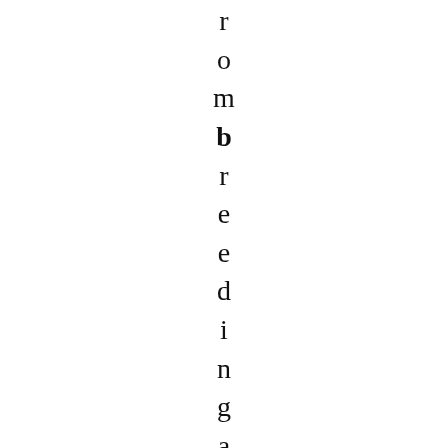r o m b r e e d i n g a n y m o r e disgust